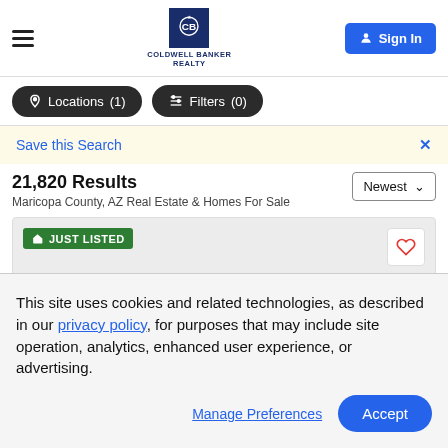[Figure (logo): Coldwell Banker Realty logo with dark blue square emblem and text below]
Locations (1)
Filters (0)
Save this Search
21,820 Results
Maricopa County, AZ Real Estate & Homes For Sale
JUST LISTED
This site uses cookies and related technologies, as described in our privacy policy, for purposes that may include site operation, analytics, enhanced user experience, or advertising.
Manage Preferences
Accept